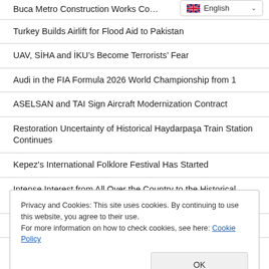Buca Metro Construction Works Co…
Turkey Builds Airlift for Flood Aid to Pakistan
UAV, SİHA and İKU's Become Terrorists' Fear
Audi in the FIA Formula 2026 World Championship from 1
ASELSAN and TAI Sign Aircraft Modernization Contract
Restoration Uncertainty of Historical Haydarpaşa Train Station Continues
Kepez's International Folklore Festival Has Started
Intense Interest from All Over the Country to the Historical Victory and Remembrance Parade
Privacy and Cookies: This site uses cookies. By continuing to use this website, you agree to their use.
For more information on how to check cookies, see here: Cookie Policy
Farewell to Adnan Oguz Akyarlı, Person of Science and Politics